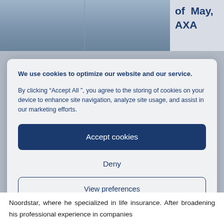[Figure (photo): Two men in business attire photographed together, partially visible at top of page. To the right, partial text reading 'of May, AXA']
We use cookies to optimize our website and our service.
By clicking “Accept All ”, you agree to the storing of cookies on your device to enhance site navigation, analyze site usage, and assist in our marketing efforts.
Accept cookies
Deny
View preferences
Cookie Policy   PRIVACY POLICY
Noordstar, where he specialized in life insurance. After broadening his professional experience in companies